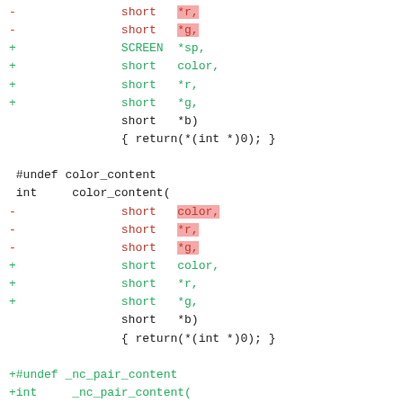[Figure (screenshot): Code diff showing changes to C function signatures for color_content and related functions, with red lines (deletions) and green lines (additions) in a monospace diff viewer]